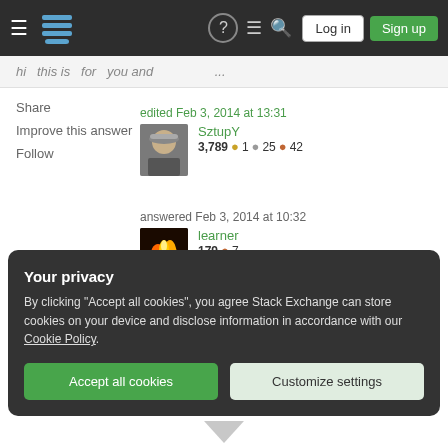Stack Exchange navigation bar with Log in and Sign up buttons
hi   this is   for   you and   ...
Share
Improve this answer
Follow
edited Feb 3, 2014 at 13:31
SztupY
3,789 ● 1 ● 25 ● 42
answered Feb 3, 2014 at 10:32
learner
179 ● 7
You need to print a greetings with a name supplied by parameters or input – SztupY   Feb 3, 2014 at 13:31
Your privacy
By clicking "Accept all cookies", you agree Stack Exchange can store cookies on your device and disclose information in accordance with our Cookie Policy.
Accept all cookies
Customize settings